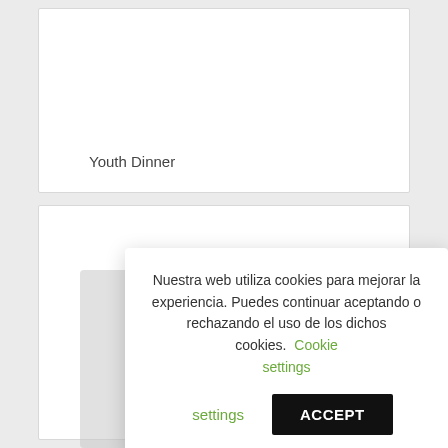Youth Dinner
[Figure (screenshot): Cookie consent dialog overlay on a webpage. Text reads: 'Nuestra web utiliza cookies para mejorar la experiencia. Puedes continuar aceptando o rechazando el uso de los dichos cookies. Cookie settings [button] ACCEPT [button]']